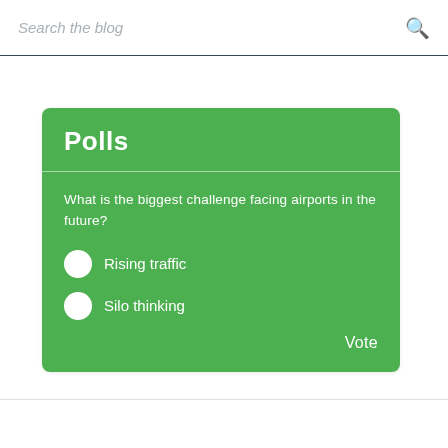Search the blog
Polls
What is the biggest challenge facing airports in the future?
Rising traffic
Silo thinking
Vote